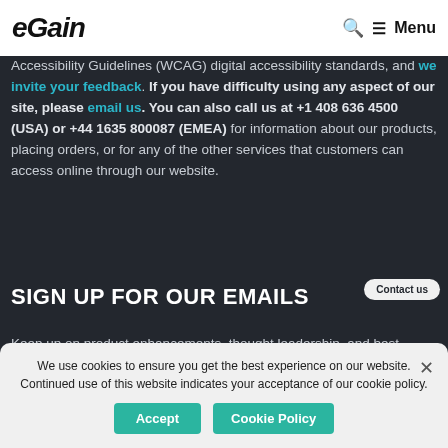eGain  🔍 ☰ Menu
Accessibility Guidelines (WCAG) digital accessibility standards, and we invite your feedback. If you have difficulty using any aspect of our site, please email us. You can also call us at +1 408 636 4500 (USA) or +44 1635 800087 (EMEA) for information about our products, placing orders, or for any of the other services that customers can access online through our website.
SIGN UP FOR OUR EMAILS
Keep up on product enhancements, thought leadership, and best practices. Enter your e-mail
We use cookies to ensure you get the best experience on our website. Continued use of this website indicates your acceptance of our cookie policy.